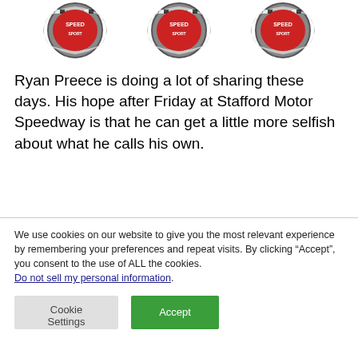[Figure (logo): Three racing speed shield logos with checkered flags, repeated three times across the top]
Ryan Preece is doing a lot of sharing these days. His hope after Friday at Stafford Motor Speedway is that he can get a little more selfish about what he calls his own.
We use cookies on our website to give you the most relevant experience by remembering your preferences and repeat visits. By clicking “Accept”, you consent to the use of ALL the cookies.
Do not sell my personal information.